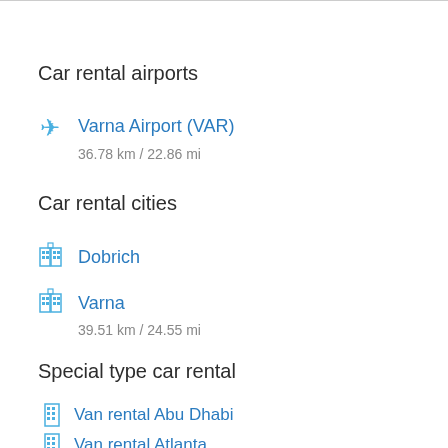Car rental airports
✈ Varna Airport (VAR)
36.78 km / 22.86 mi
Car rental cities
🏢 Dobrich
🏢 Varna
39.51 km / 24.55 mi
Special type car rental
🏢 Van rental Abu Dhabi
🏢 Van rental Atlanta